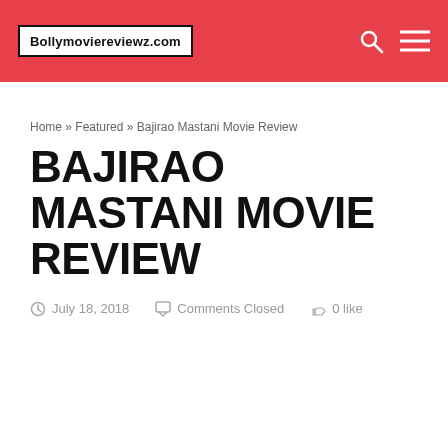Bollymoviereviewz.com
Home » Featured » Bajirao Mastani Movie Review
BAJIRAO MASTANI MOVIE REVIEW
July 18, 2018   Comments Closed   0 like